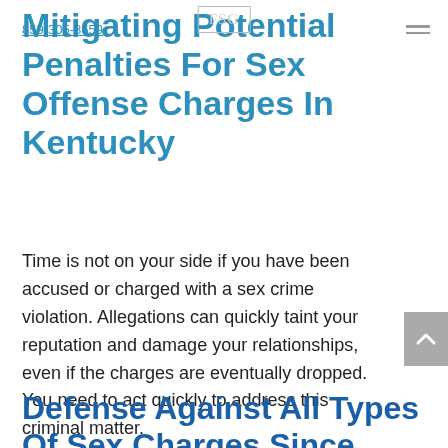859-305-8659
Mitigating Potential Penalties For Sex Offense Charges In Kentucky
Time is not on your side if you have been accused or charged with a sex crime violation. Allegations can quickly taint your reputation and damage your relationships, even if the charges are eventually dropped. You need to act quickly to address this criminal matter.
Defense Against All Types Of Sex Charges Since 1988